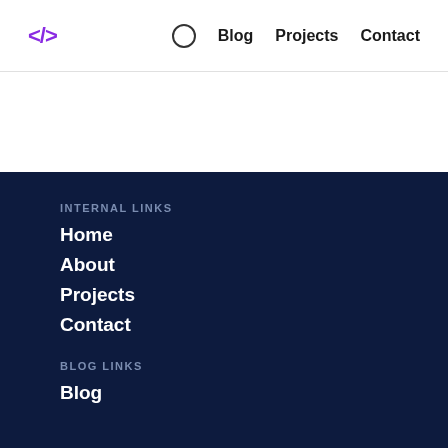</ > Blog Projects Contact
INTERNAL LINKS
Home
About
Projects
Contact
BLOG LINKS
Blog